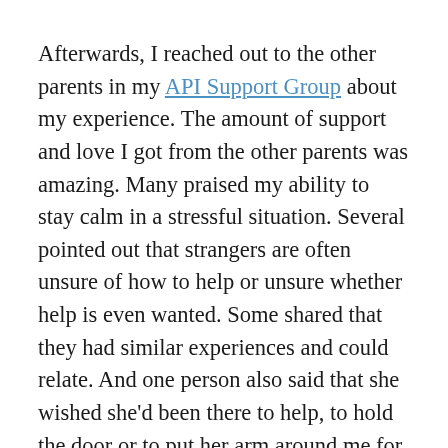Afterwards, I reached out to the other parents in my API Support Group about my experience. The amount of support and love I got from the other parents was amazing. Many praised my ability to stay calm in a stressful situation. Several pointed out that strangers are often unsure of how to help or unsure whether help is even wanted. Some shared that they had similar experiences and could relate. And one person also said that she wished she'd been there to help, to hold the door or to put her arm around me for support.
She told me, “You are not alone anymore,” which is something I wish all parents could